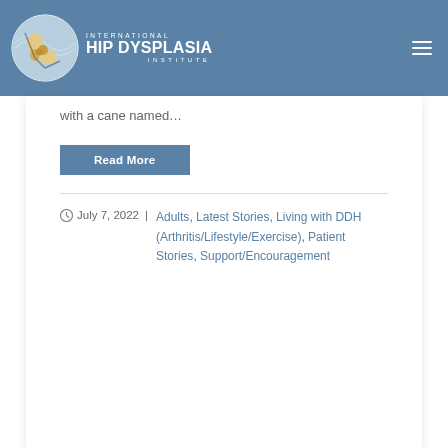[Figure (logo): International Hip Dysplasia Institute logo with globe and hip joint icon]
with a cane named…
Read More
July 7, 2022 | Adults, Latest Stories, Living with DDH (Arthritis/Lifestyle/Exercise), Patient Stories, Support/Encouragement